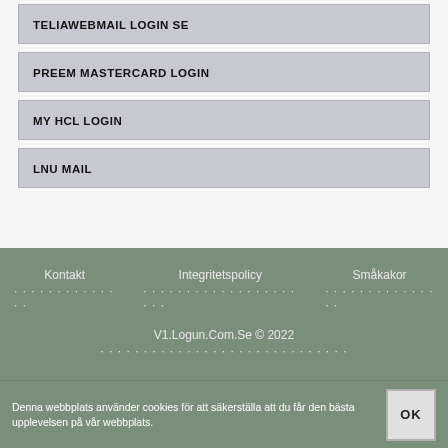TELIAWEBMAIL LOGIN SE
PREEM MASTERCARD LOGIN
MY HCL LOGIN
LNU MAIL
Kontakt   Integritetspolicy   Småkakor   V1.Logun.Com.Se © 2022
Denna webbplats använder cookies för att säkerställa att du får den bästa upplevelsen på vår webbplats.